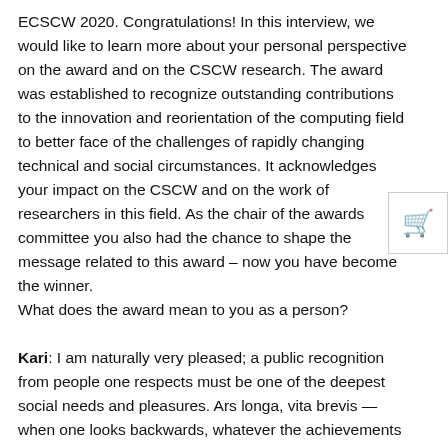ECSCW 2020. Congratulations! In this interview, we would like to learn more about your personal perspective on the award and on the CSCW research. The award was established to recognize outstanding contributions to the innovation and reorientation of the computing field to better face of the challenges of rapidly changing technical and social circumstances. It acknowledges your impact on the CSCW and on the work of researchers in this field. As the chair of the awards committee you also had the chance to shape the message related to this award – now you have become the winner.
What does the award mean to you as a person?
Kari: I am naturally very pleased; a public recognition from people one respects must be one of the deepest social needs and pleasures. Ars longa, vita brevis — when one looks backwards, whatever the achievements are they tend to look small and half-finished with